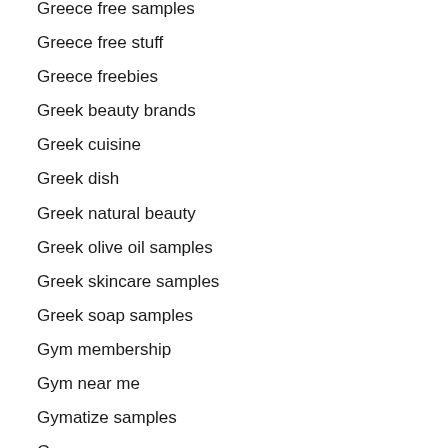Greece free samples
Greece free stuff
Greece freebies
Greek beauty brands
Greek cuisine
Greek dish
Greek natural beauty
Greek olive oil samples
Greek skincare samples
Greek soap samples
Gym membership
Gym near me
Gymatize samples
Gyms